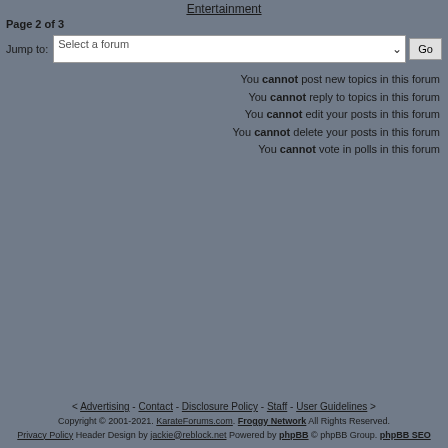Entertainment
Page 2 of 3
Jump to:  Select a forum  Go
You cannot post new topics in this forum
You cannot reply to topics in this forum
You cannot edit your posts in this forum
You cannot delete your posts in this forum
You cannot vote in polls in this forum
< Advertising - Contact - Disclosure Policy - Staff - User Guidelines >
Copyright © 2001-2021. KarateForums.com. Froggy Network All Rights Reserved.
Privacy Policy Header Design by jackie@reblock.net Powered by phpBB © phpBB Group. phpBB SEO